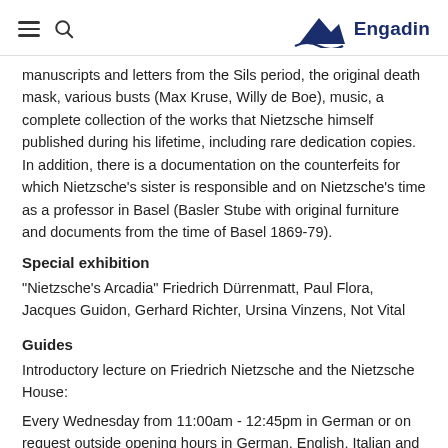Engadin
manuscripts and letters from the Sils period, the original death mask, various busts (Max Kruse, Willy de Boe), music, a complete collection of the works that Nietzsche himself published during his lifetime, including rare dedication copies. In addition, there is a documentation on the counterfeits for which Nietzsche's sister is responsible and on Nietzsche's time as a professor in Basel (Basler Stube with original furniture and documents from the time of Basel 1869-79).
Special exhibition
"Nietzsche's Arcadia" Friedrich Dürrenmatt, Paul Flora, Jacques Guidon, Gerhard Richter, Ursina Vinzens, Not Vital
Guides
Introductory lecture on Friedrich Nietzsche and the Nietzsche House:
Every Wednesday from 11:00am - 12:45pm in German or on request outside opening hours in German, English, Italian and French